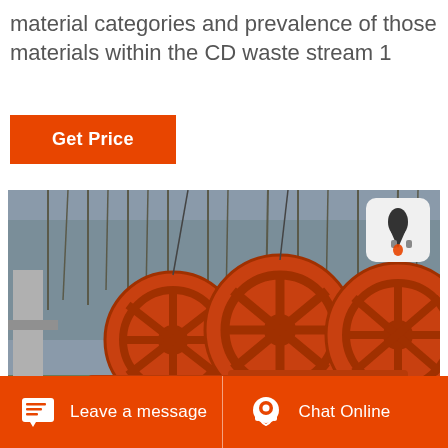material categories and prevalence of those materials within the CD waste stream 1
Get Price
[Figure (photo): Industrial sand washing machinery with large orange wheel-shaped sand washers in an outdoor industrial setting with bare trees in the background]
Leave a message   Chat Online